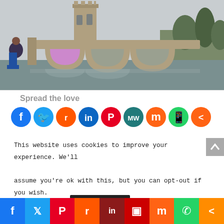[Figure (photo): Person sitting in front of a medieval stone bridge with arches and a tower, reflected in water below. Trees visible in background.]
Spread the love
[Figure (infographic): Row of social media sharing icons: Facebook (blue), Twitter (light blue), Reddit (orange-red), LinkedIn (blue), Pinterest (red), MeWe (teal with MW), Mix (orange with m), WhatsApp (green), Share (orange with <)]
This website uses cookies to improve your experience. We'll assume you're ok with this, but you can opt-out if you wish.
[Figure (infographic): Bottom social sharing bar with icons: Facebook (blue), Twitter (light blue), Pinterest (red), Reddit (orange), LinkedIn (dark red), Flipboard (red), Mix (orange), WhatsApp (green), Share (orange)]